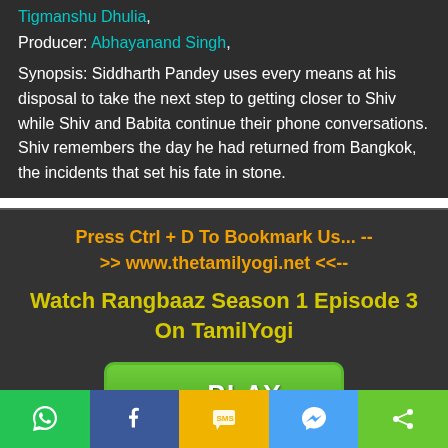Tigmanshu Dhulia,
Producer: Abhayanand Singh,
Synopsis: Siddharth Pandey uses every means at his disposal to take the next step to getting closer to Shiv while Shiv and Babita continue their phone conversations. Shiv remembers the day he had returned from Bangkok, the incidents that set his fate in stone.
Press Ctrl + D To Bookmark Us... -- >> www.thetamilyogi.net <<--
Watch Rangbaaz Season 1 Episode 3 On TamilYogi
[Figure (other): Green PLAY NOW button with play icon]
Don't forget to Bookmark Us... --
[Figure (other): Social sharing bar with WhatsApp, Facebook, SMS, Messenger, and Share buttons]